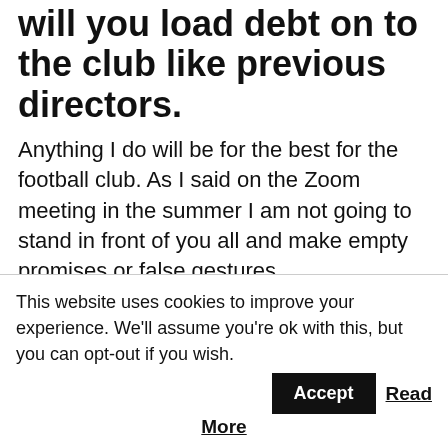…into the club will this be a gift or will you load debt on to the club like previous directors.
Anything I do will be for the best for the football club. As I said on the Zoom meeting in the summer I am not going to stand in front of you all and make empty promises or false gestures. I want to be judged on how I run the club not what promises I make. Times are hard and I have said from day one the club is open to anyone getting involved who can financially help us, so if any of the supporters group are in a position to be able to gift money to the club then just because the football has…
This website uses cookies to improve your experience. We'll assume you're ok with this, but you can opt-out if you wish. Accept Read More